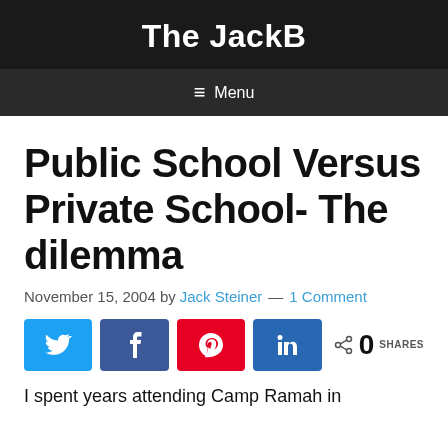The JackB
Menu
Public School Versus Private School- The dilemma
November 15, 2004 by Jack Steiner — 1 Comment
[Figure (infographic): Social share buttons: Twitter (blue), Facebook (blue), Pinterest (red), LinkedIn (dark blue), and a share count showing 0 SHARES]
I spent years attending Camp Ramah in